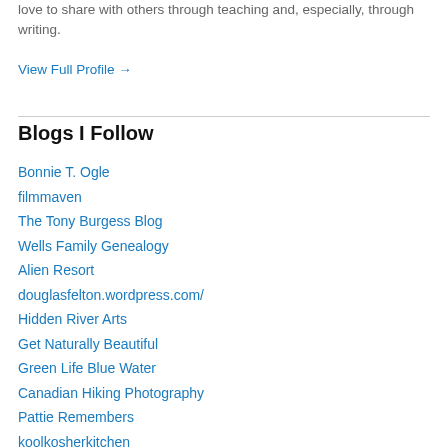love to share with others through teaching and, especially, through writing.
View Full Profile →
Blogs I Follow
Bonnie T. Ogle
filmmaven
The Tony Burgess Blog
Wells Family Genealogy
Alien Resort
douglasfelton.wordpress.com/
Hidden River Arts
Get Naturally Beautiful
Green Life Blue Water
Canadian Hiking Photography
Pattie Remembers
koolkosherkitchen